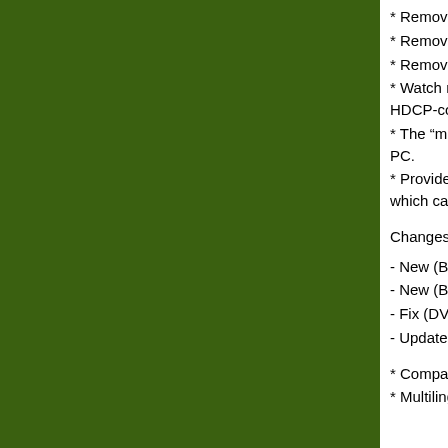* Removes encryp...
* Removes BD+ co...
* Removes region ...
* Watch movies ov... HDCP-compliant d...
* The "must have" ... PC.
* Provides its own ... which cannot be re...
Changes in version...
- New (Blu-ray): Ac...
- New (Blu-ray): Up...
- Fix (DVD): "Dora ...
- Updated languag...
* Compatible with: ...
* Multilingual: Engl...